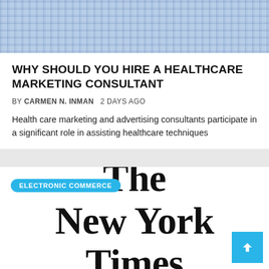[Figure (photo): Person wearing a blue and white plaid/checkered shirt, cropped to show collar and upper torso only]
WHY SHOULD YOU HIRE A HEALTHCARE MARKETING CONSULTANT
BY CARMEN N. INMAN   2 DAYS AGO
Health care marketing and advertising consultants participate in a significant role in assisting healthcare techniques
ELECTRONIC COMMERCE
[Figure (logo): The New York Times masthead logo in blackletter/gothic typeface]